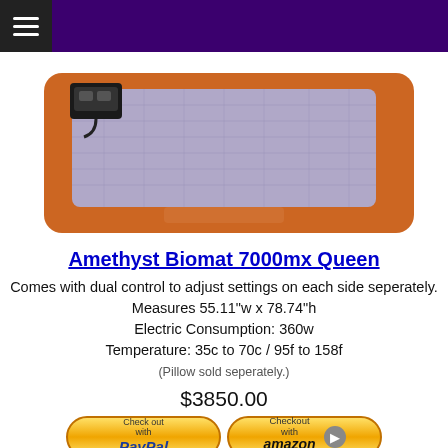[Figure (photo): Amethyst Biomat 7000mx Queen product image — a rectangular mat with orange/brown leather border and purple/gray amethyst crystal surface, with a small black controller device on the top left corner.]
Amethyst Biomat 7000mx Queen
Comes with dual control to adjust settings on each side seperately.
Measures 55.11"w x 78.74"h
Electric Consumption: 360w
Temperature: 35c to 70c / 95f to 158f
(Pillow sold seperately.)
$3850.00
[Figure (infographic): Checkout with PayPal button (gold rounded rectangle) and Checkout with Amazon button (gold rounded rectangle with arrow icon)]
[Figure (infographic): Apple Pay logo and payment card icons: Visa, MasterCard, Discover, American Express]